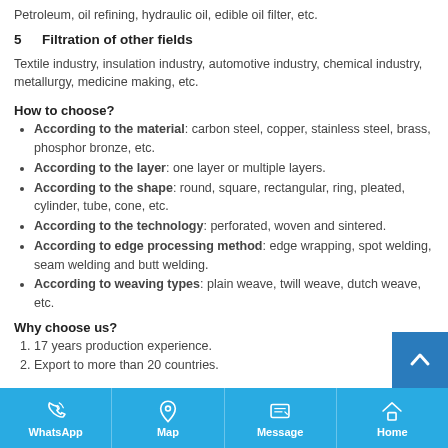Petroleum, oil refining, hydraulic oil, edible oil filter, etc.
5    Filtration of other fields
Textile industry, insulation industry, automotive industry, chemical industry, metallurgy, medicine making, etc.
How to choose?
According to the material: carbon steel, copper, stainless steel, brass, phosphor bronze, etc.
According to the layer: one layer or multiple layers.
According to the shape: round, square, rectangular, ring, pleated, cylinder, tube, cone, etc.
According to the technology: perforated, woven and sintered.
According to edge processing method: edge wrapping, spot welding, seam welding and butt welding.
According to weaving types: plain weave, twill weave, dutch weave, etc.
Why choose us?
17 years production experience.
Export to more than 20 countries.
WhatsApp | Map | Message | Home